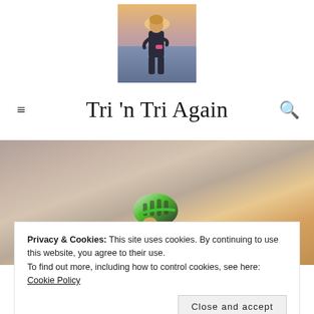[Figure (photo): Profile photo of a woman in a wetsuit standing by water at sunset]
Tri 'n Tri Again
[Figure (photo): Hero photo of a cyclist wearing a green/white helmet against a warm cloudy sky at dusk]
Privacy & Cookies: This site uses cookies. By continuing to use this website, you agree to their use.
To find out more, including how to control cookies, see here: Cookie Policy
Close and accept
TAG: DOWORK